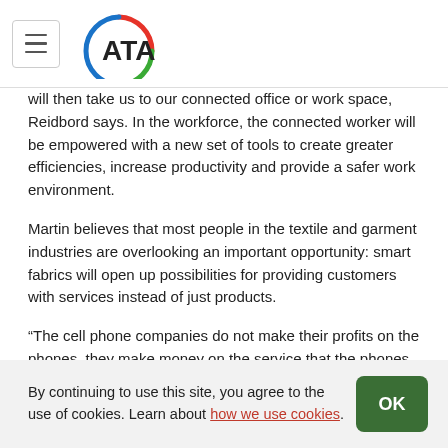ATA (logo with hamburger menu)
will then take us to our connected office or work space, Reidbord says. In the workforce, the connected worker will be empowered with a new set of tools to create greater efficiencies, increase productivity and provide a safer work environment.
Martin believes that most people in the textile and garment industries are overlooking an important opportunity: smart fabrics will open up possibilities for providing customers with services instead of just products.
“The cell phone companies do not make their profits on the phones, they make money on the service that the phones provide, data and voice,” Martin says. “Similarly, smart fabrics will create opportunities for businesses to sell
By continuing to use this site, you agree to the use of cookies. Learn about how we use cookies.